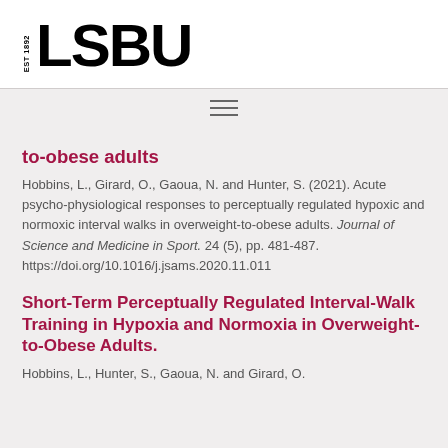[Figure (logo): LSBU logo with EST 1892 text and bold LSBU lettering]
to-obese adults
Hobbins, L., Girard, O., Gaoua, N. and Hunter, S. (2021). Acute psycho-physiological responses to perceptually regulated hypoxic and normoxic interval walks in overweight-to-obese adults. Journal of Science and Medicine in Sport. 24 (5), pp. 481-487. https://doi.org/10.1016/j.jsams.2020.11.011
Short-Term Perceptually Regulated Interval-Walk Training in Hypoxia and Normoxia in Overweight-to-Obese Adults.
Hobbins, L., Hunter, S., Gaoua, N. and Girard, O.